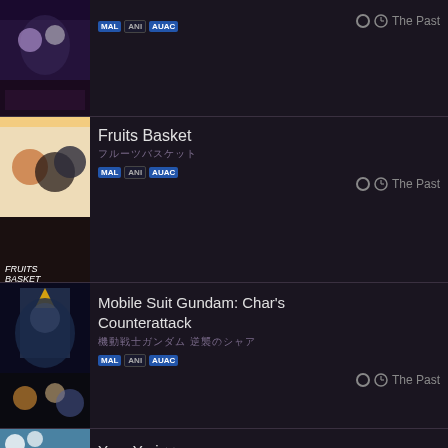[Figure (screenshot): Anime list entry 1 - thumbnail image of an anime with characters]
MAL ANI AUAC
The Past
[Figure (screenshot): Fruits Basket anime cover art with three characters]
Fruits Basket
フルーツバスケット
MAL ANI AUAC
The Past
[Figure (screenshot): Mobile Suit Gundam: Char's Counterattack anime movie poster]
Mobile Suit Gundam: Char's Counterattack
機動戦士ガンダム 逆襲のシャア
MAL ANI AUAC
The Past
[Figure (screenshot): Yuru Yuri anime thumbnail - partial view]
Yuru Yuri ♪♪